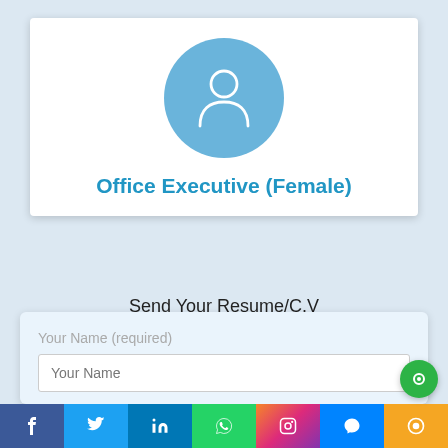[Figure (illustration): Blue circle avatar with white outline of a person (female silhouette) inside a white card]
Office Executive (Female)
Send Your Resume/C.V
At hr@cosmoconsultants.in
Your Name (required)
Your Name
[Figure (screenshot): Social media share bar with Facebook, Twitter, LinkedIn, WhatsApp, Instagram, Messenger, and chat button icons]